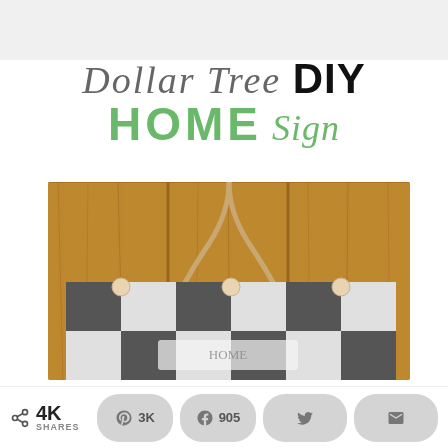Dollar Tree DIY HOME Sign
[Figure (photo): A DIY home sign made from a buffalo check black and white fabric-covered board with wooden ball embellishments and a jute rope hanger, photographed on a rustic wooden background]
4K SHARES | 3K Pinterest | 905 Facebook | Twitter | Email